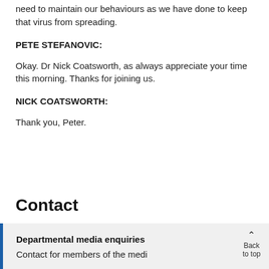need to maintain our behaviours as we have done to keep that virus from spreading.
PETE STEFANOVIC:
Okay. Dr Nick Coatsworth, as always appreciate your time this morning. Thanks for joining us.
NICK COATSWORTH:
Thank you, Peter.
Contact
Departmental media enquiries
Contact for members of the media to top